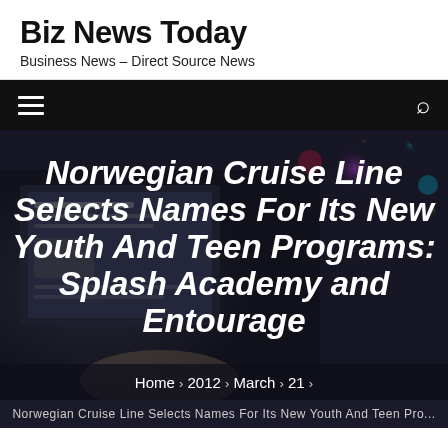Biz News Today
Business News – Direct Source News
[Figure (screenshot): Black navigation bar with hamburger menu icon on left and search icon on right]
[Figure (photo): Hero image with blurred background showing a laptop screen and bokeh lights, overlaid with article title text]
Norwegian Cruise Line Selects Names For Its New Youth And Teen Programs: Splash Academy and Entourage
Home › 2012 › March › 21 ›